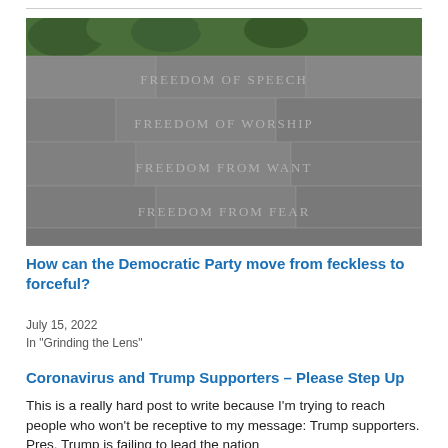[Figure (photo): Stone wall with Four Freedoms inscriptions carved in granite blocks: FREEDOM OF SPEECH, FREEDOM OF WORSHIP, FREEDOM FROM WANT, FREEDOM FROM FEAR, with green foliage visible at the top.]
How can the Democratic Party move from feckless to forceful?
July 15, 2022
In "Grinding the Lens"
Coronavirus and Trump Supporters – Please Step Up
This is a really hard post to write because I'm trying to reach people who won't be receptive to my message: Trump supporters. Pres. Trump is failing to lead the nation